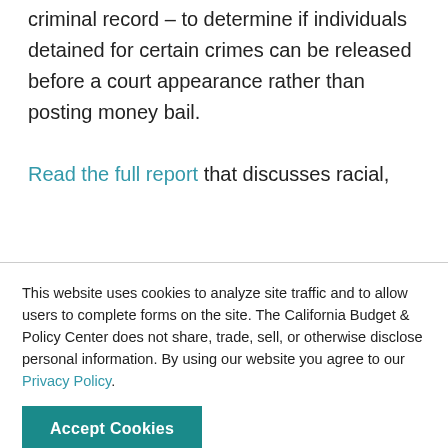criminal record – to determine if individuals detained for certain crimes can be released before a court appearance rather than posting money bail.
Read the full report that discusses racial,
This website uses cookies to analyze site traffic and to allow users to complete forms on the site. The California Budget & Policy Center does not share, trade, sell, or otherwise disclose personal information. By using our website you agree to our Privacy Policy.
Accept Cookies